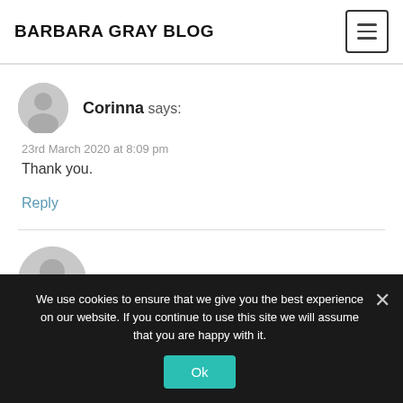BARBARA GRAY BLOG
Corinna says:
23rd March 2020 at 8:09 pm
Thank you.
Reply
Doreen says:
We use cookies to ensure that we give you the best experience on our website. If you continue to use this site we will assume that you are happy with it.